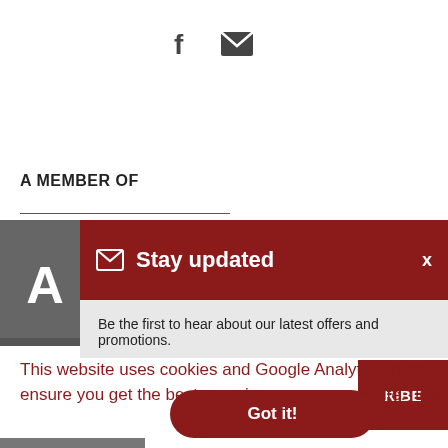[Figure (illustration): Social media icons: Facebook 'f' and email envelope icons in dark gray]
A MEMBER OF
[Figure (logo): Partial logo with gray background and white letter A]
[Figure (screenshot): Stay updated modal overlay with dark red header showing envelope icon and 'Stay updated' text with X close button, and light gray body with text 'Be the first to hear about our latest offers and promotions.']
This website uses cookies and Google Analytics tracking to ensure you get the best experience on our website. Learn more
[Figure (illustration): Got it! button - dark red rounded button with white bold text 'Got it!']